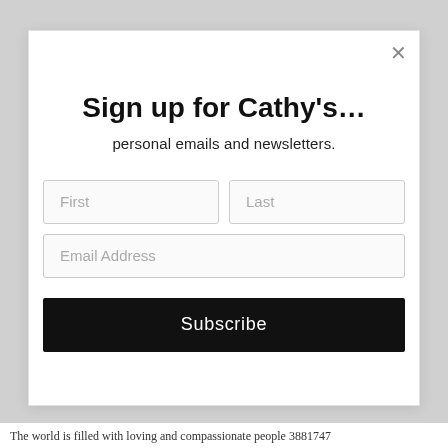Sign up for Cathy's…
personal emails and newsletters.
[Figure (screenshot): Modal sign-up form with First, Last, Email Address input fields and a Subscribe button]
The world is filled with loving and compassionate people 3881747